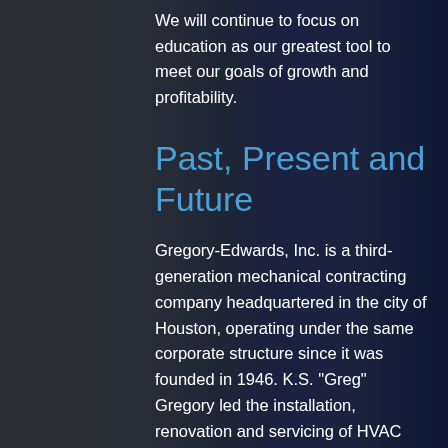We will continue to focus on education as our greatest tool to meet our goals of growth and profitability.
Past, Present and Future
Gregory-Edwards, Inc. is a third-generation mechanical contracting company headquartered in the city of Houston, operating under the same corporate structure since it was founded in 1946. K.S. "Greg" Gregory led the installation, renovation and servicing of HVAC work for commercial, institutional, medical and industrial projects.      Since 1971, W.A. Gregory, Sr. has maintained and expanded our commitment to quality, underscoring Gregory-      Edwards Inc.'s reputation as a premier HVAC contractor.